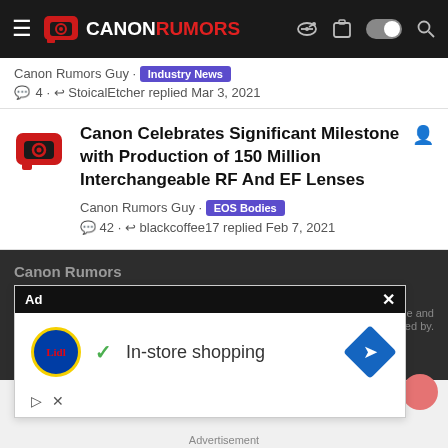Canon Rumors — site header with logo, menu, and icons
Canon Rumors Guy · Industry News
💬 4 · ↩ StoicalEtcher replied Mar 3, 2021
Canon Celebrates Significant Milestone with Production of 150 Million Interchangeable RF And EF Lenses
Canon Rumors Guy · EOS Bodies
💬 42 · ↩ blackcoffee17 replied Feb 7, 2021
Canon Rumors
Terms and rules  Privacy policy  Help  Home  ↑  RSS
Community platform by XenForo — style and add-ons by Host Duplex.
[Figure (screenshot): Ad overlay showing Lidl logo with 'In-store shopping' text and navigation icon]